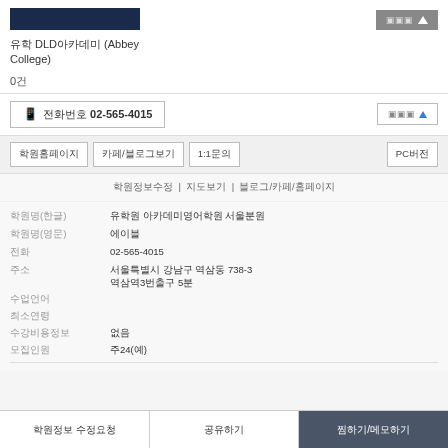[Figure (screenshot): Dark navy blue bar graphic element at top left]
유학 DLD아카데미 (Abbey College)
0건
전화 02-565-4015
학원정보 | 지도보기 | 블로그/카페/홈페이지
학원명(한글) 유학원 아카데미영어학원 서울분원
학원명(영문) 에이블
전화 02-565-4015
주소 서울특별시 강남구 역삼동 738-3
역삼역3번출구 5분
수업언어
최소연령
수강비용정보 없음
모집인원 주24(예)
학원정보 수정요청
공유하기
찜하기/메모하기